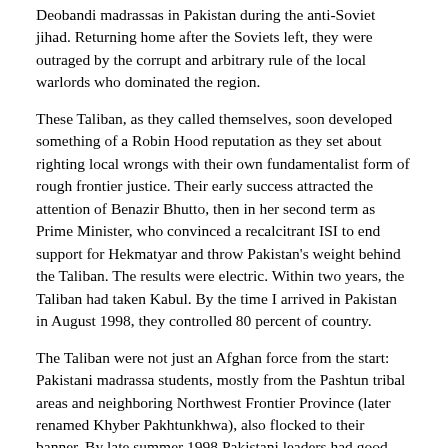Deobandi madrassas in Pakistan during the anti-Soviet jihad. Returning home after the Soviets left, they were outraged by the corrupt and arbitrary rule of the local warlords who dominated the region.
These Taliban, as they called themselves, soon developed something of a Robin Hood reputation as they set about righting local wrongs with their own fundamentalist form of rough frontier justice. Their early success attracted the attention of Benazir Bhutto, then in her second term as Prime Minister, who convinced a recalcitrant ISI to end support for Hekmatyar and throw Pakistan's weight behind the Taliban. The results were electric. Within two years, the Taliban had taken Kabul. By the time I arrived in Pakistan in August 1998, they controlled 80 percent of country.
The Taliban were not just an Afghan force from the start: Pakistani madrassa students, mostly from the Pashtun tribal areas and neighboring Northwest Frontier Province (later renamed Khyber Pakhtunkhwa), also flocked to their banner. By late summer 1998 Pakistani leaders had good reason to feel satisfied with